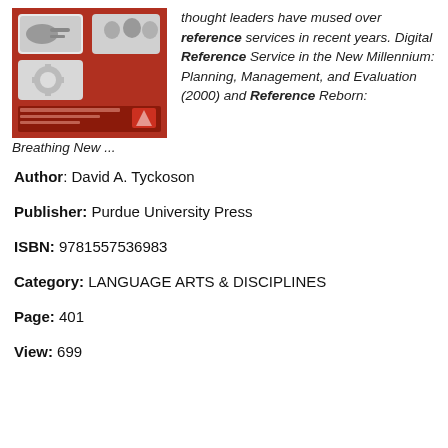[Figure (illustration): Book cover with red background showing speech bubble graphics with black and white photos, and text at the bottom]
thought leaders have mused over reference services in recent years. Digital Reference Service in the New Millennium: Planning, Management, and Evaluation (2000) and Reference Reborn: Breathing New ...
Author: David A. Tyckoson
Publisher: Purdue University Press
ISBN: 9781557536983
Category: LANGUAGE ARTS & DISCIPLINES
Page: 401
View: 699